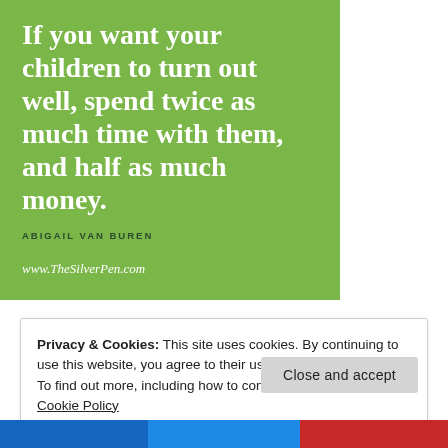[Figure (infographic): Green square quote graphic with white serif text reading 'If you want your children to turn out well, spend twice as much time with them, and half as much money.' attributed to ABIGAIL VAN BUREN with www.TheSilverPen.com at the bottom.]
Privacy & Cookies: This site uses cookies. By continuing to use this website, you agree to their use.
To find out more, including how to control cookies, see here:
Cookie Policy
Close and accept